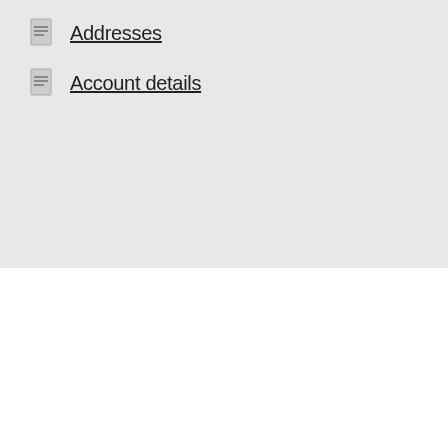Addresses
Account details
We use cookies on our website to give you the most relevant experience by remembering your preferences and repeat visits. By clicking “Accept All”, you consent to the use of ALL the cookies. However, you may visit "Cookie Settings" to provide a controlled consent.
Cookie Settings  Accept All